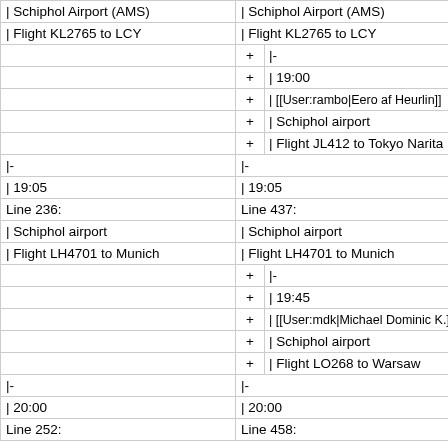| | Schiphol Airport (AMS) |  | | Schiphol Airport (AMS) |
| | Flight KL2765 to LCY |  | | Flight KL2765 to LCY |
|  | + | |- |
|  | + | | 19:00 |
|  | + | | [[User:rambo|Eero af Heurlin]] |
|  | + | | Schiphol airport |
|  | + | | Flight JL412 to Tokyo Narita |
| |- |  | |- |
| | 19:05 |  | | 19:05 |
| Line 236: |  | Line 437: |
| | Schiphol airport |  | | Schiphol airport |
| | Flight LH4701 to Munich |  | | Flight LH4701 to Munich |
|  | + | |- |
|  | + | | 19:45 |
|  | + | | [[User:mdk|Michael Dominic K.]] |
|  | + | | Schiphol airport |
|  | + | | Flight LO268 to Warsaw |
| |- |  | |- |
| | 20:00 |  | | 20:00 |
| Line 252: |  | Line 458: |